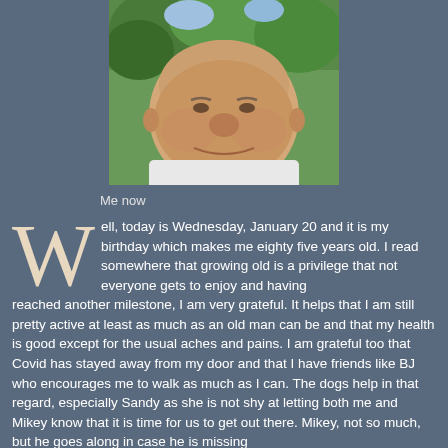[Figure (photo): Close-up photo of an elderly man smiling, outdoors with green trees in background, wearing a white shirt]
Me now
Well, today is Wednesday, January 20 and it is my birthday which makes me eighty five years old. I read somewhere that growing old is a privilege that not everyone gets to enjoy and having reached another milestone, I am very grateful. It helps that I am still pretty active at least as much as an old man can be and that my health is good except for the usual aches and pains. I am grateful too that Covid has stayed away from my door and that I have friends like BJ who encourages me to walk as much as I can. The dogs help in that regard, especially Sandy as she is not shy at letting both me and Mikey know that it is time for us to get out there. Mikey, not so much, but he goes along in case he is missing